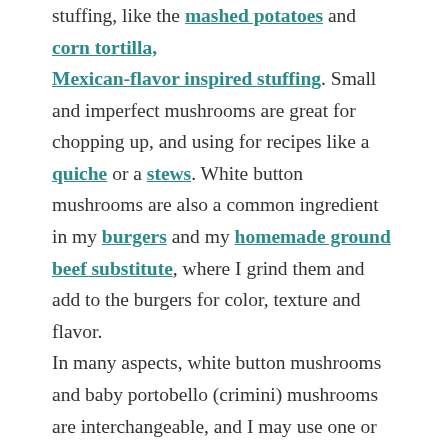stuffing, like the mashed potatoes and corn tortilla, Mexican-flavor inspired stuffing. Small and imperfect mushrooms are great for chopping up, and using for recipes like a quiche or a stews. White button mushrooms are also a common ingredient in my burgers and my homemade ground beef substitute, where I grind them and add to the burgers for color, texture and flavor.
In many aspects, white button mushrooms and baby portobello (crimini) mushrooms are interchangeable, and I may use one or the other or both depending on which variety looked best at the store that day. Crimini mushrooms had a more woody, deep and rich flavor than white button mushrooms, but the differences are